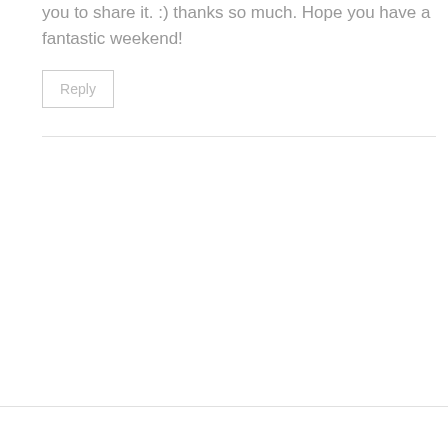you to share it. :) thanks so much. Hope you have a fantastic weekend!
Reply